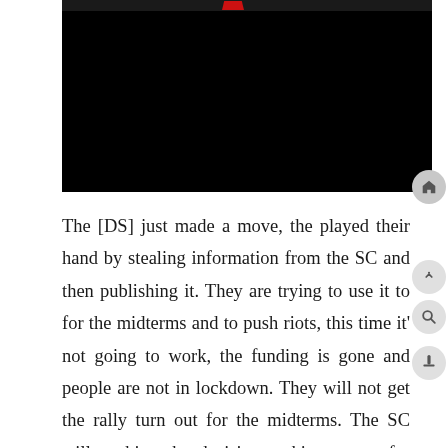[Figure (screenshot): Video player screenshot with black screen and red logo/mark in top bar]
The [DS] just made a move, the played their hand by stealing information from the SC and then publishing it. They are trying to use it to for the midterms and to push riots, this time it' not going to work, the funding is gone and people are not in lockdown. They will not get the rally turn out for the midterms. The SC will pushing the decision making power for abortions back to the state and the legislators. The [DS] is